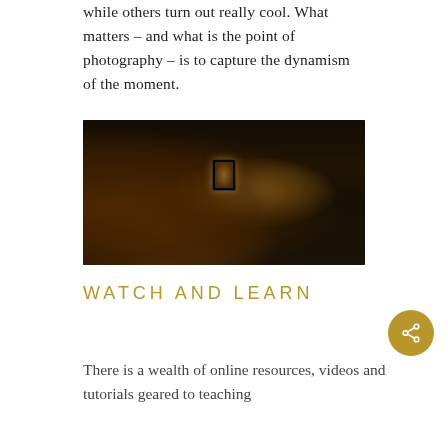while others turn out really cool. What matters – and what is the point of photography – is to capture the dynamism of the moment.
[Figure (photo): A person holding up a smartphone to photograph sunlight filtering through tall trees in a forest. The scene is backlit with warm golden light. The photographer is seen from behind with long hair.]
WATCH AND LEARN
There is a wealth of online resources, videos and tutorials geared to teaching